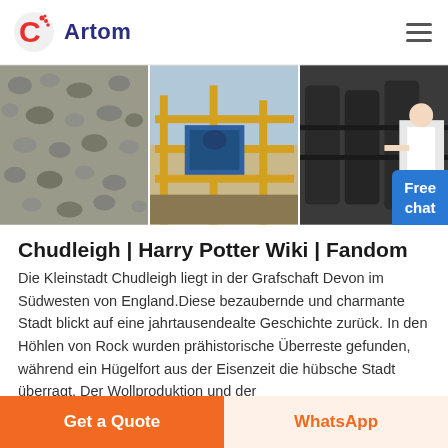[Figure (logo): Artom logo with red circular C icon and dark blue 'Artom' text]
[Figure (photo): Three-panel banner image: left panel shows aggregate/gravel material, center panel shows industrial yellow steel structure with blue machinery, right panel shows large industrial equipment with a woman presenter]
Chudleigh | Harry Potter Wiki | Fandom
Die Kleinstadt Chudleigh liegt in der Grafschaft Devon im Südwesten von England.Diese bezaubernde und charmante Stadt blickt auf eine jahrtausendealte Geschichte zurück. In den Höhlen von Rock wurden prähistorische Überreste gefunden, während ein Hügelfort aus der Eisenzeit die hübsche Stadt überragt. Der Wollproduktion und der Handelließ...